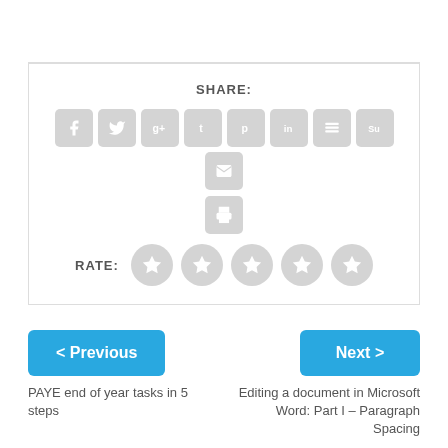[Figure (infographic): Social sharing icons row: Facebook, Twitter, Google+, Tumblr, Pinterest, LinkedIn, Buffer, StumbleUpon, Email, and a Print icon below. All icons are grey rounded squares or circles.]
SHARE:
RATE:
< Previous
PAYE end of year tasks in 5 steps
Next >
Editing a document in Microsoft Word: Part I – Paragraph Spacing